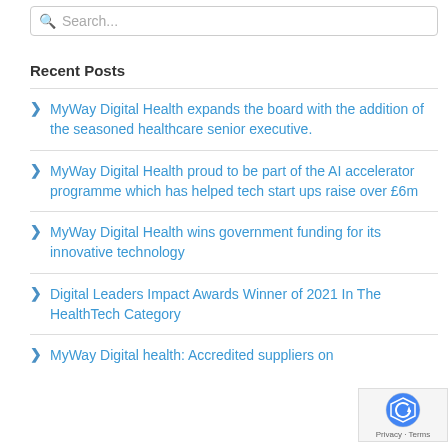Search...
Recent Posts
MyWay Digital Health expands the board with the addition of the seasoned healthcare senior executive.
MyWay Digital Health proud to be part of the AI accelerator programme which has helped tech start ups raise over £6m
MyWay Digital Health wins government funding for its innovative technology
Digital Leaders Impact Awards Winner of 2021 In The HealthTech Category
MyWay Digital health: Accredited suppliers on